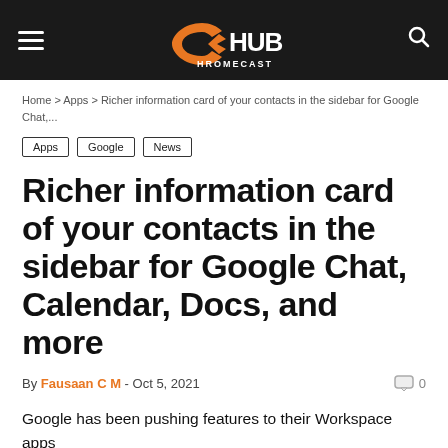CCHub Hromecast
Home › Apps › Richer information card of your contacts in the sidebar for Google Chat,...
Apps
Google
News
Richer information card of your contacts in the sidebar for Google Chat, Calendar, Docs, and more
By Fausaan C M - Oct 5, 2021
Google has been pushing features to their Workspace apps